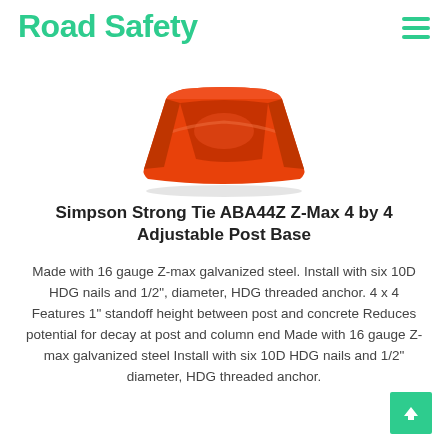Road Safety
[Figure (photo): Red square-shaped adjustable post base (Simpson Strong Tie ABA44Z), viewed from above at an angle, showing the red powder-coated metal base with raised center platform.]
Simpson Strong Tie ABA44Z Z-Max 4 by 4 Adjustable Post Base
Made with 16 gauge Z-max galvanized steel. Install with six 10D HDG nails and 1/2", diameter, HDG threaded anchor. 4 x 4 Features 1" standoff height between post and concrete Reduces potential for decay at post and column end Made with 16 gauge Z-max galvanized steel Install with six 10D HDG nails and 1/2" diameter, HDG threaded anchor.